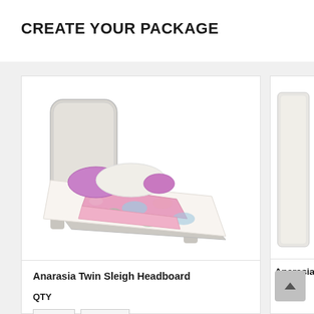CREATE YOUR PACKAGE
[Figure (photo): Product photo of Anarasia Twin Sleigh Headboard — a white/grey upholstered sleigh-style headboard with a bed dressed in a white floral comforter with pink and blue flowers and a pink accent blanket.]
Anarasia Twin Sleigh Headboard
QTY
[Figure (photo): Partial product photo of a second Anarasia item — shows a white furniture piece, partially cut off at the right edge of the page.]
Anarasia
QTY